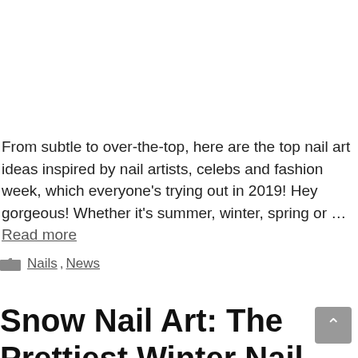From subtle to over-the-top, here are the top nail art ideas inspired by nail artists, celebs and fashion week, which everyone's trying out in 2019! Hey gorgeous! Whether it's summer, winter, spring or … Read more
Nails, News
Snow Nail Art: The Prettiest Winter Nail Designs f…